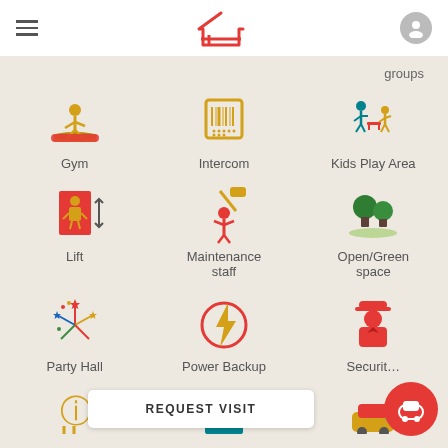[Figure (screenshot): Mobile app screenshot showing amenities grid with top navigation bar (hamburger menu, red house logo, user icon). Grid shows: Gym, Intercom, Kids Play Area, Lift, Maintenance staff, Open/Green space, Party Hall, Power Backup, Security icons with labels. Bottom has REQUEST VISIT bar and red FAB button.]